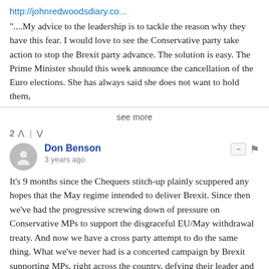http://johnredwoodsdiary.co...
"....My advice to the leadership is to tackle the reason why they have this fear. I would love to see the Conservative party take action to stop the Brexit party advance. The solution is easy. The Prime Minister should this week announce the cancellation of the Euro elections. She has always said she does not want to hold them,
see more
2 ∧ | ∨
Don Benson
3 years ago
It's 9 months since the Chequers stitch-up plainly scuppered any hopes that the May regime intended to deliver Brexit. Since then we've had the progressive screwing down of pressure on Conservative MPs to support the disgraceful EU/May withdrawal treaty. And now we have a cross party attempt to do the same thing. What we've never had is a concerted campaign by Brexit supporting MPs, right across the country, defying their leader and arguing for a genuine Brexit and presenting in clear terms the complete sellout to the EU of May's treaty. The only pushback that